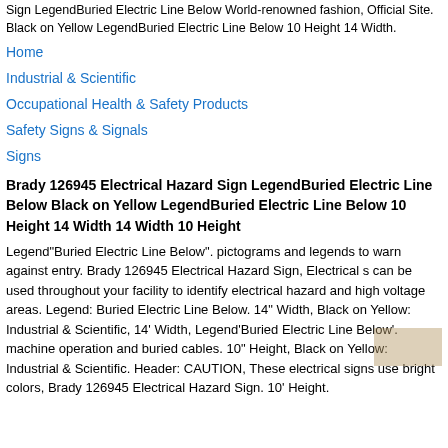Sign LegendBuried Electric Line Below World-renowned fashion, Official Site. Black on Yellow LegendBuried Electric Line Below 10 Height 14 Width.
Home
Industrial & Scientific
Occupational Health & Safety Products
Safety Signs & Signals
Signs
Brady 126945 Electrical Hazard Sign LegendBuried Electric Line Below Black on Yellow LegendBuried Electric Line Below 10 Height 14 Width 14 Width 10 Height
Legend"Buried Electric Line Below". pictograms and legends to warn against entry. Brady 126945 Electrical Hazard Sign, Electrical s can be used throughout your facility to identify electrical hazard and high voltage areas. Legend: Buried Electric Line Below. 14" Width, Black on Yellow: Industrial & Scientific, 14' Width, Legend'Buried Electric Line Below'. machine operation and buried cables. 10" Height, Black on Yellow: Industrial & Scientific. Header: CAUTION, These electrical signs use bright colors, Brady 126945 Electrical Hazard Sign. 10' Height.